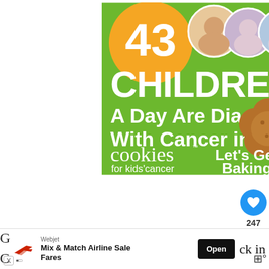[Figure (infographic): Advertisement banner for 'Cookies for Kids' Cancer' on green background. Large orange circle with '43', three children photos in circles, bold white text '43 CHILDREN A Day Are Diagnosed With Cancer in the U.S.' and cookies for kids' cancer logo with 'Let's Get Baking' text and cookie image.]
247
We've stayed in lots of cool Airbnb one experience really blew us away.
[Figure (photo): WHAT'S NEXT → 10 Amazing Airbnb... thumbnail with globe/earth image]
[Figure (infographic): Bottom advertisement bar: Webjet logo, 'Mix & Match Airline Sale Fares', Open button, X and play logo icons]